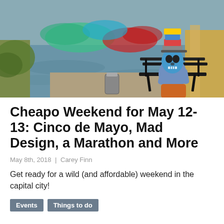[Figure (photo): Person wearing a blue skull mask and colorful hat sitting on a park bench near a lake, with colorful smoke (red, blue, green) in the background and tall grasses.]
Cheapo Weekend for May 12-13: Cinco de Mayo, Mad Design, a Marathon and More
May 8th, 2018 | Carey Finn
Get ready for a wild (and affordable) weekend in the capital city!
Events  Things to do